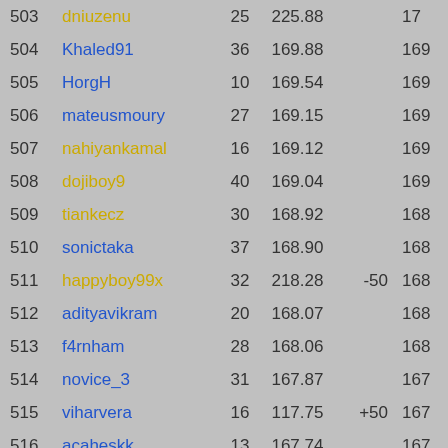| Rank | Username | Games | Score | Bonus | Final |
| --- | --- | --- | --- | --- | --- |
| 503 | dniuzenu | 25 | 225.88 | 50 | 17 |
| 504 | Khaled91 | 36 | 169.88 |  | 169 |
| 505 | HorgH | 10 | 169.54 |  | 169 |
| 506 | mateusmoury | 27 | 169.15 |  | 169 |
| 507 | nahiyankamal | 16 | 169.12 |  | 169 |
| 508 | dojiboy9 | 40 | 169.04 |  | 169 |
| 509 | tiankecz | 30 | 168.92 |  | 168 |
| 510 | sonictaka | 37 | 168.90 |  | 168 |
| 511 | happyboy99x | 32 | 218.28 | -50 | 168 |
| 512 | adityavikram | 20 | 168.07 |  | 168 |
| 513 | f4rnham | 28 | 168.06 |  | 168 |
| 514 | novice_3 | 31 | 167.87 |  | 167 |
| 515 | viharvera | 16 | 117.75 | +50 | 167 |
| 516 | acaheskk | 13 | 167.74 |  | 167 |
| 517 | eggeek | 25 | 167.38 |  | 167 |